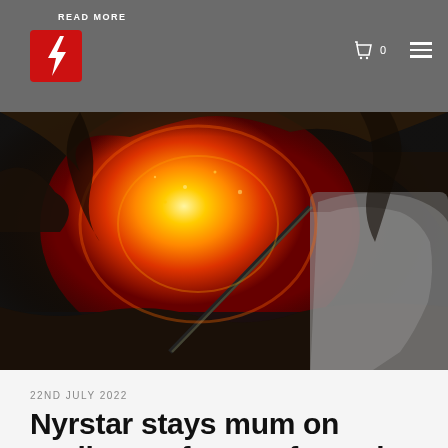READ MORE
[Figure (logo): Red lightning bolt logo on grey header background]
[Figure (photo): Industrial smelting furnace with glowing molten metal in orange and red tones, worker in protective silver suit on the right]
22ND JULY 2022
Nyrstar stays mum on Stolberg’s future after sale